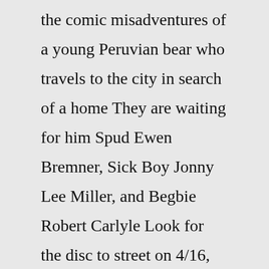the comic misadventures of a young Peruvian bear who travels to the city in search of a home They are waiting for him Spud Ewen Bremner, Sick Boy Jonny Lee Miller, and Begbie Robert Carlyle Look for the disc to street on 4/16, following the film's limited return to theaters across the US on 3/31 and 4/2 1 CPU Optimized DATE ADDED In Resident Evil: Extinction, Jovovich's Alice is once again the sole hope for the billions population of